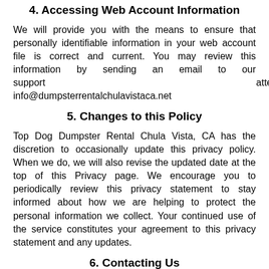4. Accessing Web Account Information
We will provide you with the means to ensure that personally identifiable information in your web account file is correct and current. You may review this information by sending an email to our support attendant info@dumpsterrentalchulavistaca.net
5. Changes to this Policy
Top Dog Dumpster Rental Chula Vista, CA has the discretion to occasionally update this privacy policy. When we do, we will also revise the updated date at the top of this Privacy page. We encourage you to periodically review this privacy statement to stay informed about how we are helping to protect the personal information we collect. Your continued use of the service constitutes your agreement to this privacy statement and any updates.
6. Contacting Us
If you have questions regarding our Privacy